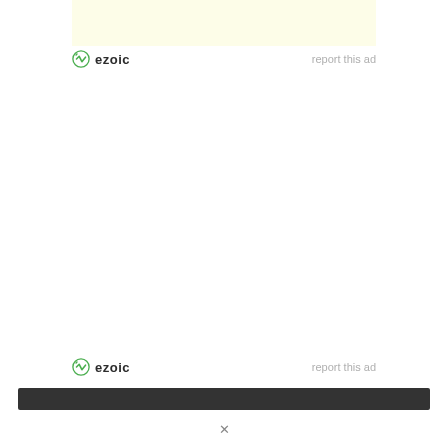[Figure (other): Ad placeholder block with light yellow background]
ezoic   report this ad
ezoic   report this ad
[Figure (other): Dark navigation/footer bar]